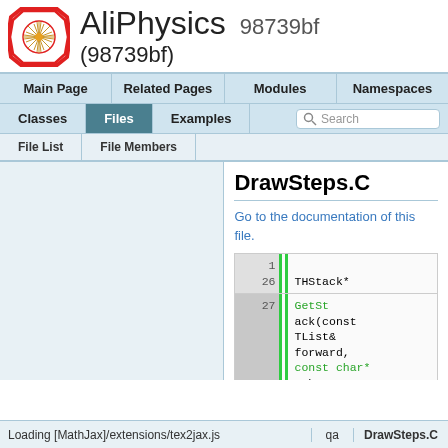AliPhysics 98739bf (98739bf)
Main Page | Related Pages | Modules | Namespaces
Classes | Files | Examples | Search
File List | File Members
DrawSteps.C
Go to the documentation of this file.
1
26 THStack*
27 GetStack(const TList& forward, const char* sub, const char* name)
Loading [MathJax]/extensions/tex2jax.js   qa   DrawSteps.C